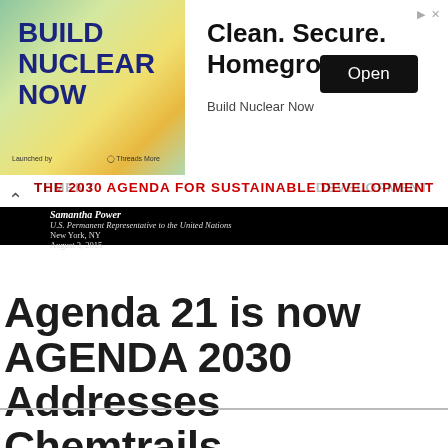[Figure (screenshot): Advertisement banner for 'Build Nuclear Now'. Left side shows a green/yellow gradient image with bold dark blue text 'BUILD NUCLEAR NOW'. Right side shows text 'Clean. Secure. Homegrown.' with 'Build Nuclear Now' brand name and an 'Open' button.]
THE 2030 AGENDA FOR SUSTAINABLE DEVELOPMENT
Samantha Power
U.S. Permanent Representative to the United Nations
New York, NY
August 3, 2015
Agenda 21 is now AGENDA 2030 Addresses Chemtrails, Population Control, & The New World Order